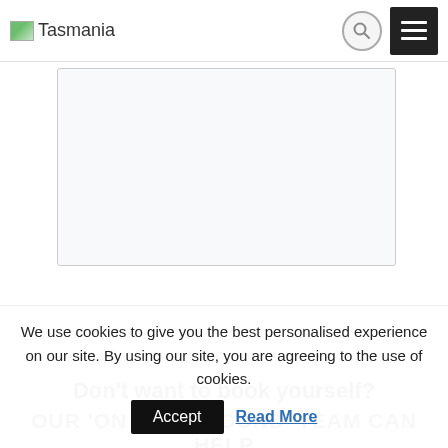Tasmania
[Figure (screenshot): Text area input field (form element), empty, with light gray background and resize handle]
[Figure (other): SUBMIT button, blue background, white uppercase text]
Don't want to book yourself?
OUR 'ON THE GROUND' TEAM CAN HELP
We use cookies to give you the best personalised experience on our site. By using our site, you are agreeing to the use of cookies.
Accept  Read More